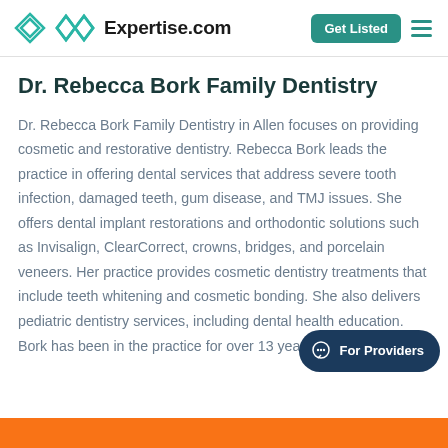Expertise.com
Dr. Rebecca Bork Family Dentistry
Dr. Rebecca Bork Family Dentistry in Allen focuses on providing cosmetic and restorative dentistry. Rebecca Bork leads the practice in offering dental services that address severe tooth infection, damaged teeth, gum disease, and TMJ issues. She offers dental implant restorations and orthodontic solutions such as Invisalign, ClearCorrect, crowns, bridges, and porcelain veneers. Her practice provides cosmetic dentistry treatments that include teeth whitening and cosmetic bonding. She also delivers pediatric dentistry services, including dental health education. Bork has been in the practice for over 13 years.